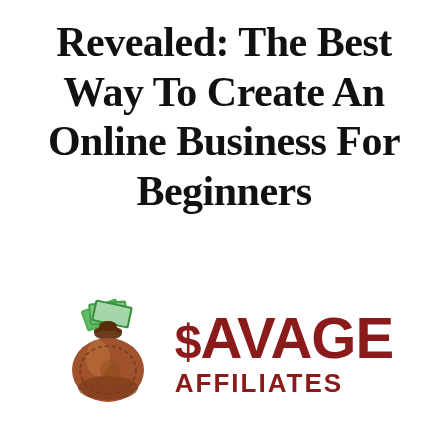Revealed: The Best Way To Create An Online Business For Beginners
[Figure (logo): Savage Affiliates logo: a brown money bag with green cash bills spilling out on the left, and 'SAVAGE AFFILIATES' text in dark red on the right with a dollar sign prefix on SAVAGE]